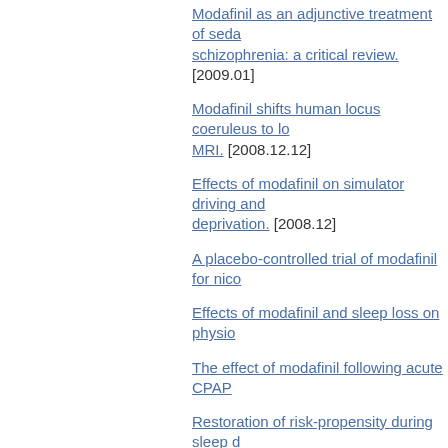Modafinil as an adjunctive treatment of seda... schizophrenia: a critical review. [2009.01]
Modafinil shifts human locus coeruleus to lo... MRI. [2008.12.12]
Effects of modafinil on simulator driving and... deprivation. [2008.12]
A placebo-controlled trial of modafinil for nic...
Effects of modafinil and sleep loss on physio...
The effect of modafinil following acute CPAP...
Restoration of risk-propensity during sleep d... modafinil. [2008.09]
Effects of dextroamphetamine, caffeine and... performance after 44 h of continuous wakefu...
Pharmacokinetics and tolerability of modafin...
Impact of modafinil on spasticity reduction a...
The effects of modafinil on mood and cogniti...